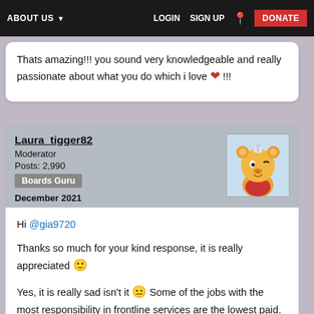ABOUT US  LOGIN  SIGN UP  DONATE
Thats amazing!!! you sound very knowledgeable and really passionate about what you do which i love ❤ !!!
Laura_tigger82
Moderator
Posts: 2,990
Boards Guru
December 2021
Hi @gia9720

Thanks so much for your kind response, it is really appreciated 🙂

Yes, it is really sad isn't it 😐 Some of the jobs with the most responsibility in frontline services are the lowest paid. It really does need to change.

Keep prioritising your health (mental and physical). It is a lot...